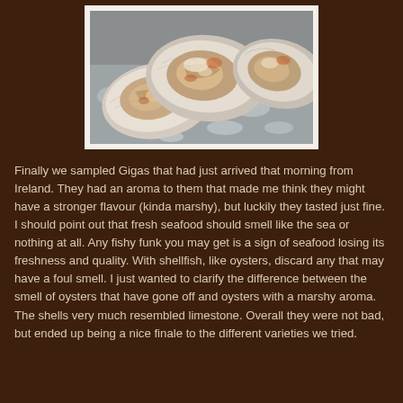[Figure (photo): Close-up photo of fresh oysters on the half shell, displayed on crushed ice. The oysters are open showing the meat inside, with pearlescent shells visible.]
Finally we sampled Gigas that had just arrived that morning from Ireland. They had an aroma to them that made me think they might have a stronger flavour (kinda marshy), but luckily they tasted just fine. I should point out that fresh seafood should smell like the sea or nothing at all. Any fishy funk you may get is a sign of seafood losing its freshness and quality. With shellfish, like oysters, discard any that may have a foul smell. I just wanted to clarify the difference between the smell of oysters that have gone off and oysters with a marshy aroma. The shells very much resembled limestone. Overall they were not bad, but ended up being a nice finale to the different varieties we tried.